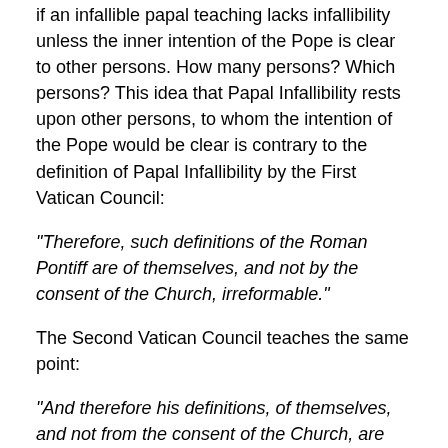if an infallible papal teaching lacks infallibility unless the inner intention of the Pope is clear to other persons. How many persons? Which persons? This idea that Papal Infallibility rests upon other persons, to whom the intention of the Pope would be clear is contrary to the definition of Papal Infallibility by the First Vatican Council:
“Therefore, such definitions of the Roman Pontiff are of themselves, and not by the consent of the Church, irreformable.”
The Second Vatican Council teaches the same point:
“And therefore his definitions, of themselves, and not from the consent of the Church, are justly styled irreformable, since they are pronounced with the assistance of the Holy Spirit, promised to him in blessed Peter, and therefore they need no approval of others, nor do they allow an